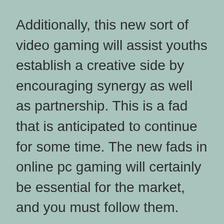Additionally, this new sort of video gaming will assist youths establish a creative side by encouraging synergy as well as partnership. This is a fad that is anticipated to continue for some time. The new fads in online pc gaming will certainly be essential for the market, and you must follow them.
Attributes of online video gaming websites Massively multiplayer online video games are hugely prominent around the world. However, their bothersome use might influence relationships. The research study of participants' perceptions of addicting as well as